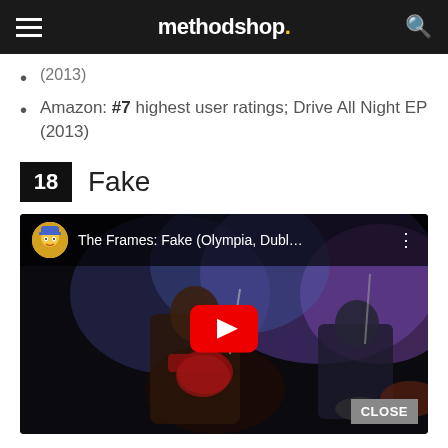methodshop.
(2013)
Amazon: #7 highest user ratings; Drive All Night EP (2013)
18  Fake
[Figure (screenshot): YouTube video embed showing The Frames: Fake (Olympia, Dubl... with a red play button overlay, two musicians on stage in a dark concert venue, and a CLOSE button in the bottom right corner.]